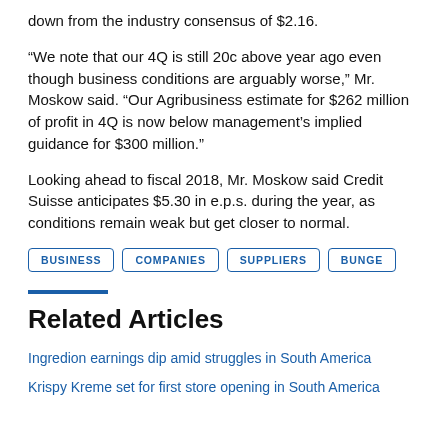down from the industry consensus of $2.16.
“We note that our 4Q is still 20c above year ago even though business conditions are arguably worse,” Mr. Moskow said. “Our Agribusiness estimate for $262 million of profit in 4Q is now below management’s implied guidance for $300 million.”
Looking ahead to fiscal 2018, Mr. Moskow said Credit Suisse anticipates $5.30 in e.p.s. during the year, as conditions remain weak but get closer to normal.
BUSINESS
COMPANIES
SUPPLIERS
BUNGE
Related Articles
Ingredion earnings dip amid struggles in South America
Krispy Kreme set for first store opening in South America